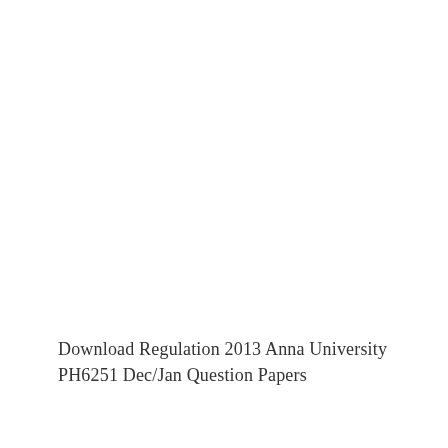Download Regulation 2013 Anna University PH6251 Dec/Jan Question Papers